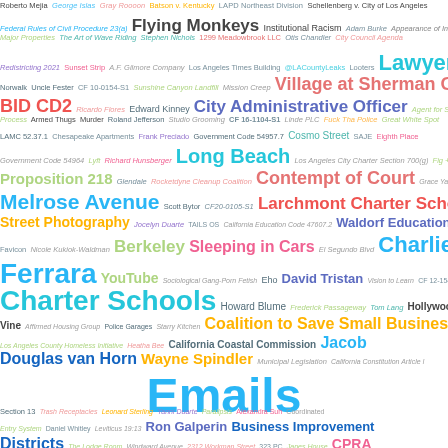[Figure (infographic): Word cloud containing legal, civic, and local government terms of varying sizes and colors. Larger words include: Emails, Charter Schools, Business Improvement Districts, City Administrative Officer, Larchmont Charter School, Melrose Avenue, Contempt of Court, Village at Sherman Oaks, Long Beach, Lawyers, Sleeping in Cars, Berkeley, Charlie Ferrara, Coalition to Save Small Business, California Coastal Commission, Jacob, Douglas van Horn, Wayne Spindler, Ron Galperin, CPRA, BID CD2, Street Photography, Waldorf Education, Proposition 218, YouTube. Smaller terms include various legal codes, names, places, and case references.]